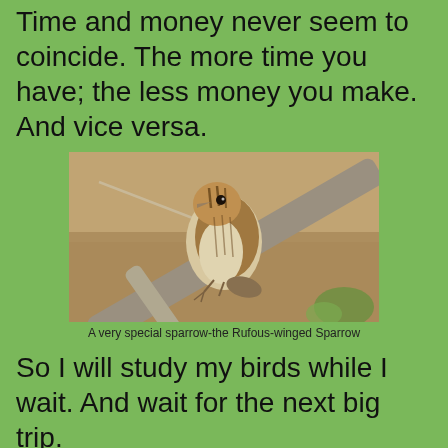Time and money never seem to coincide.  The more time you have; the less money you make.  And vice versa.
[Figure (photo): A small sparrow bird perched on a diagonal branch against a blurred brownish background. The bird has brown and white streaked plumage on its head and back, with a lighter belly. This is a Rufous-winged Sparrow.]
A very special sparrow-the Rufous-winged Sparrow
So I will study my birds while I wait. And wait for the next big trip.
[Figure (photo): Partial view of another bird photo at the bottom of the page, cropped off.]